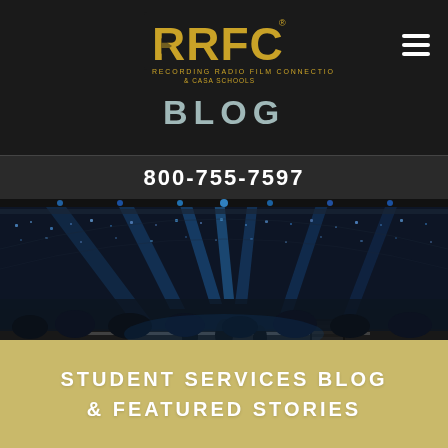[Figure (logo): RRFC logo - Recording Radio Film Connection & Casa Schools logo in gold on dark background]
BLOG
800-755-7597
[Figure (photo): Aerial view of a large concert arena filled with audience, stage lights in blue, performers on stage]
STUDENT SERVICES BLOG & FEATURED STORIES